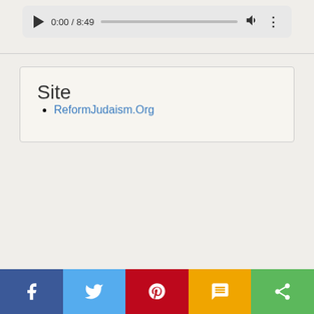[Figure (other): Audio player showing 0:00 / 8:49 with play button, progress bar, volume icon, and options icon]
Site
ReformJudaism.Org
[Figure (other): Social share bar with Facebook, Twitter, Pinterest, SMS, and More share buttons]